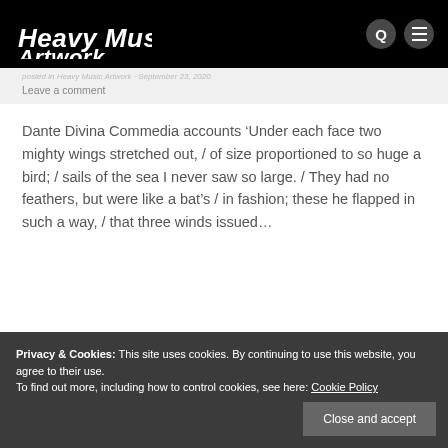Heavy Music Artwork
Leave a comment
Dante Divina Commedia accounts ‘Under each face two mighty wings stretched out, / of size proportioned to so huge a bird; / sails of the sea I never saw so large. / They had no feathers, but were like a bat’s / in fashion; these he flapped in such a way, / that three winds issued…
Privacy & Cookies: This site uses cookies. By continuing to use this website, you agree to their use.
To find out more, including how to control cookies, see here: Cookie Policy